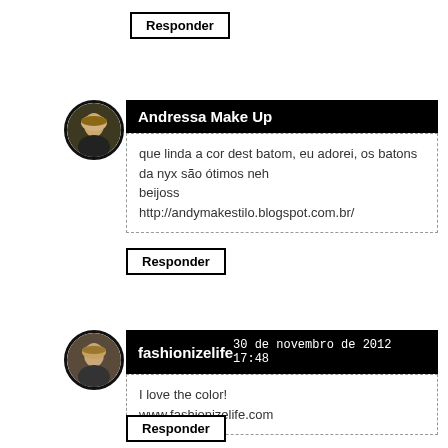Responder
[Figure (photo): Round avatar photo of Andressa Make Up, blonde woman outdoors]
Andressa Make Up
que linda a cor dest batom, eu adorei, os batons da nyx são ótimos neh
beiJoss
http://andymakestilo.blogspot.com.br/
Responder
[Figure (photo): Round avatar photo of fashionizelife, woman with blonde hair]
fashionizelife
30 de novembro de 2012 17:48
I love the color!
www.fashionizelife.com
Responder